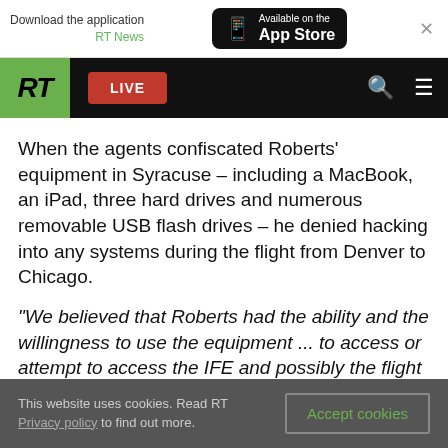[Figure (screenshot): App Store download banner with RT News label and Available on the App Store button, plus close X button]
[Figure (screenshot): RT news website navigation bar with green RT logo, red LIVE button, search icon and hamburger menu]
When the agents confiscated Roberts' equipment in Syracuse – including a MacBook, an iPad, three hard drives and numerous removable USB flash drives – he denied hacking into any systems during the flight from Denver to Chicago.
“We believed that Roberts had the ability and the willingness to use the equipment ... to access or attempt to access the IFE and possibly the flight
This website uses cookies. Read RT Privacy policy to find out more.